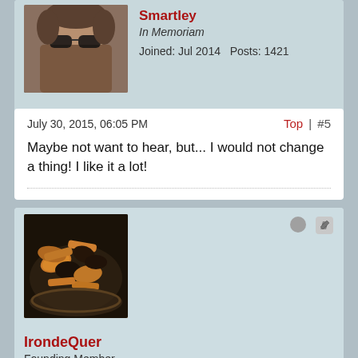[Figure (photo): Profile photo of user Smartley wearing sunglasses, partial view at top of page]
Smartley
In Memoriam
Joined: Jul 2014    Posts: 1421
July 30, 2015, 06:05 PM
Top | #5
Maybe not want to hear, but... I would not change a thing! I like it a lot!
[Figure (photo): Profile photo of user IrondeQuer showing a bowl of mixed nuts and dried fruits]
IrondeQuer
Founding Member
Joined: Jul 2014    Posts: 242
Location: Irondequoit, NY